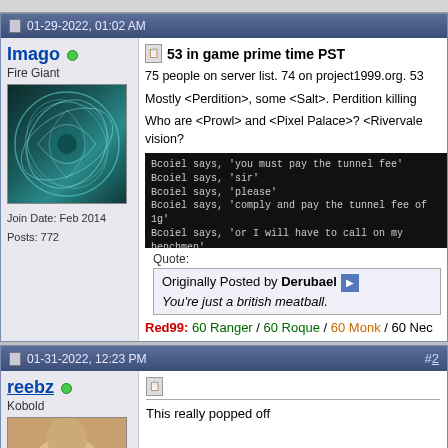01-29-2022, 01:02 AM
Imago
Fire Giant
[Figure (photo): Forum user avatar: teal/dark swirling circular design on dark background]
Join Date: Feb 2014
Posts: 772
53 in game prime time PST
75 people on server list. 74 on project1999.org. 53 in game prime time PST
Mostly <Perdition>, some <Salt>. Perdition killing
Who are <Prowl> and <Pixel Palace>? <Rivervale vision?
[Figure (screenshot): Game chat screenshot showing: Bcoiel says 'you must pay the tunnel fee', Bcoiel says 'sir', Bcoiel says 'please', Bcoiel says 'comply and pay the tunnel fee of 1g', Bcoiel says 'or I will have to call on my henchmen', You say 'lol', You say 'hit /d to open donation window']
Quote:
Originally Posted by Derubael
You're just a british meatball.
Red99: 60 Ranger / 60 Rogue / 60 Monk / 60 Nec
01-31-2022, 12:23 PM  #2
reebz
Kobold
[Figure (photo): Forum user avatar: partial view, brownish tones]
This really popped off